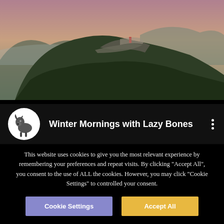[Figure (photo): Aerial/drone photo of a forested mountain hillside at dusk or dawn with a figure in red standing on a rocky outcrop. Mountains and valley visible in the background with soft pink/purple sky.]
Winter Mornings with Lazy Bones
This website uses cookies to give you the most relevant experience by remembering your preferences and repeat visits. By clicking "Accept All", you consent to the use of ALL the cookies. However, you may click "Cookie Settings" to controlled your consent.